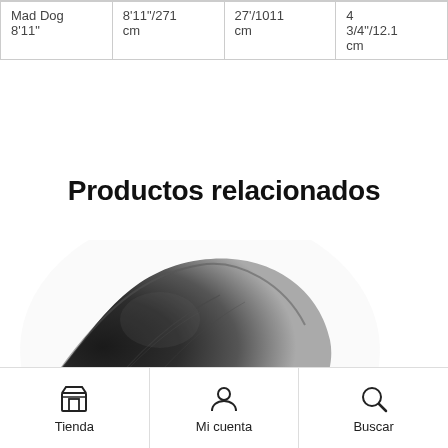| Mad Dog
8'11" | 8'11"/271
cm | 27'/1011
cm | 4
3/4"/12.1
cm |
Productos relacionados
[Figure (photo): Black and white photo of a dark leather or wooden curved object (appears to be a pipe or shoe/last), shown partially cropped from the lower left.]
Tienda   Mi cuenta   Buscar